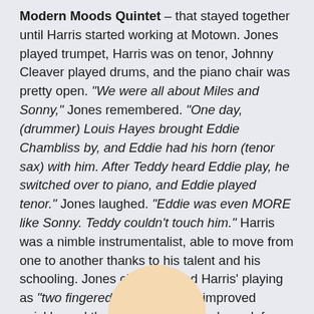Modern Moods Quintet – that stayed together until Harris started working at Motown. Jones played trumpet, Harris was on tenor, Johnny Cleaver played drums, and the piano chair was pretty open. "We were all about Miles and Sonny," Jones remembered. "One day, (drummer) Louis Hayes brought Eddie Chambliss by, and Eddie had his horn (tenor sax) with him. After Teddy heard Eddie play, he switched over to piano, and Eddie played tenor." Jones laughed. "Eddie was even MORE like Sonny. Teddy couldn't touch him." Harris was a nimble instrumentalist, able to move from one to another thanks to his talent and his schooling. Jones characterized Harris' playing as "two fingered" at first, but he improved quickly, and their band found steady work for dances and club gigs as far north as Flint.
[Figure (illustration): A partial circular illustration at the bottom center of the page, showing the top of a person's head (peach/skin tone color), cropped by the page edge.]